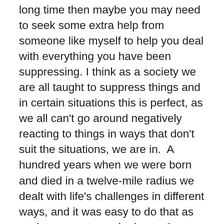long time then maybe you may need to seek some extra help from someone like myself to help you deal with everything you have been suppressing. I think as a society we are all taught to suppress things and in certain situations this is perfect, as we all can't go around negatively reacting to things in ways that don't suit the situations, we are in.  A hundred years when we were born and died in a twelve-mile radius we dealt with life's challenges in different ways, and it was easy to do that as we knew most people due to the limited areas, we mainly lived in. People would have been more understanding of having others outbursts and negative reactions to things, as this was the way it was back then and it didn't hold the same level of stigma it does now. Don't get me wrong we can't all rush around letting off steam wherever we are or